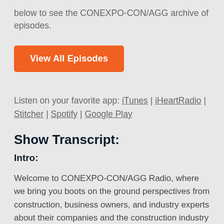below to see the CONEXPO-CON/AGG archive of episodes.
View All Episodes
Listen on your favorite app: iTunes | iHeartRadio | Stitcher | Spotify | Google Play
Show Transcript:
Intro:
Welcome to CONEXPO-CON/AGG Radio, where we bring you boots on the ground perspectives from construction, business owners, and industry experts about their companies and the construction industry